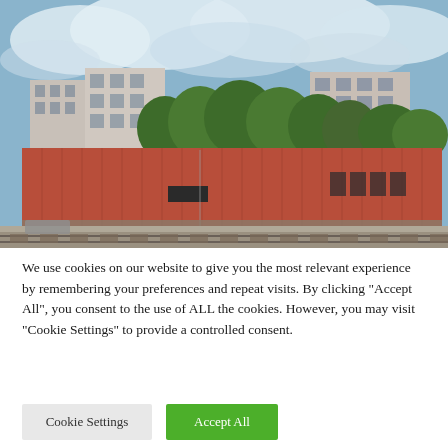[Figure (photo): Outdoor photo of a large red/terracotta industrial or commercial building with corrugated metal facade, surrounded by urban apartment blocks and trees under a partly cloudy sky. Railway tracks visible in the foreground.]
We use cookies on our website to give you the most relevant experience by remembering your preferences and repeat visits. By clicking "Accept All", you consent to the use of ALL the cookies. However, you may visit "Cookie Settings" to provide a controlled consent.